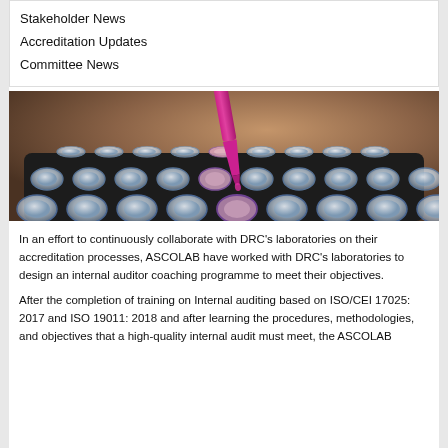Stakeholder News
Accreditation Updates
Committee News
[Figure (photo): Close-up photo of a laboratory multi-well plate with a pink/magenta pipette tip dispensing liquid into one of the wells. The background is blurred showing a warm brown tone.]
In an effort to continuously collaborate with DRC's laboratories on their accreditation processes, ASCOLAB have worked with DRC's laboratories to design an internal auditor coaching programme to meet their objectives.
After the completion of training on Internal auditing based on ISO/CEI 17025: 2017 and ISO 19011: 2018 and after learning the procedures, methodologies, and objectives that a high-quality internal audit must meet, the ASCOLAB